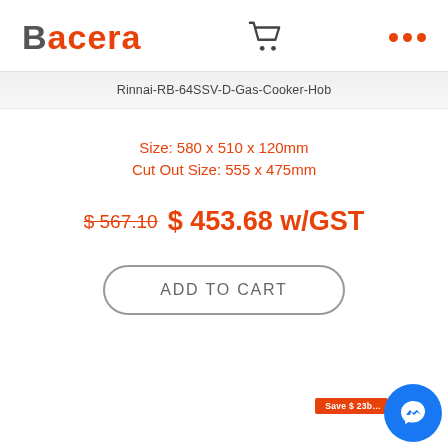Bacera
Rinnai-RB-64SSV-D-Gas-Cooker-Hob
Size: 580 x 510 x 120mm
Cut Out Size: 555 x 475mm
$ 567.10 $ 453.68 w/GST
ADD TO CART
Save $ 23b...